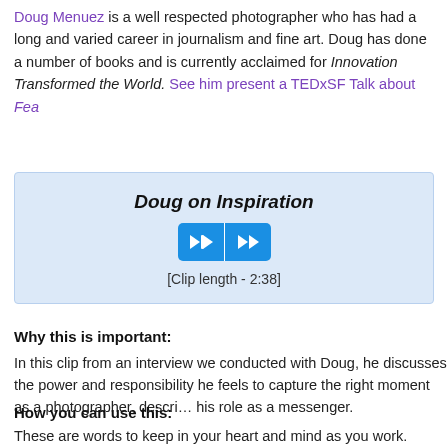Doug Menuez is a well respected photographer who has had a long and varied career in journalism and fine art. Doug has done a number of books and is currently acclaimed for Fearless Genius: How Innovation Transformed the World. See him present a TEDxSF Talk about Fea…
[Figure (other): Audio/media player widget box with light blue background, title 'Doug on Inspiration', two blue media control buttons (rewind and play), and text '[Clip length - 2:38]']
Why this is important:
In this clip from an interview we conducted with Doug, he discusses the power and responsibility he feels to capture the right moment as a photographer, describing his role as a messenger.
How you can use this:
These are words to keep in your heart and mind as you work.